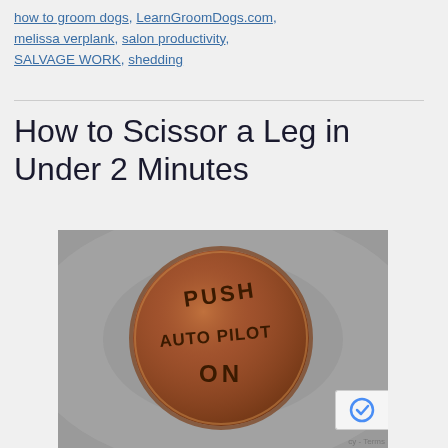how to groom dogs, LearnGroomDogs.com, melissa verplank, salon productivity, SALVAGE WORK, shedding
How to Scissor a Leg in Under 2 Minutes
[Figure (photo): A copper-colored round button engraved with the words PUSH AUTO PILOT ON, with a metallic background]